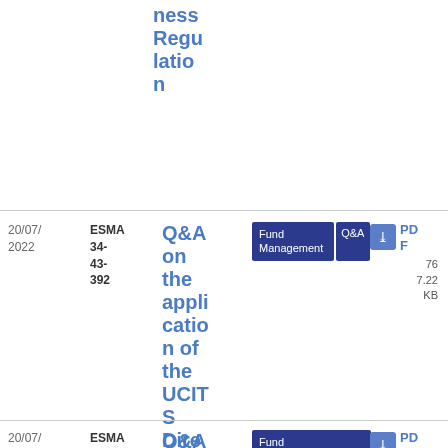nessRegulation
| Date | Reference | Title | Tags | Download |
| --- | --- | --- | --- | --- |
| 20/07/2022 | ESMA 34-43-392 | Q&A on the application of the UCITS Directive | Fund Management, Q&A | PDF 767.22 KB |
| 20/07/2022 | ESMA 34-32-352 | Q&A on the Appl... | Fund Management, Q&A, Supervisory convergence | PDF 707.65 |